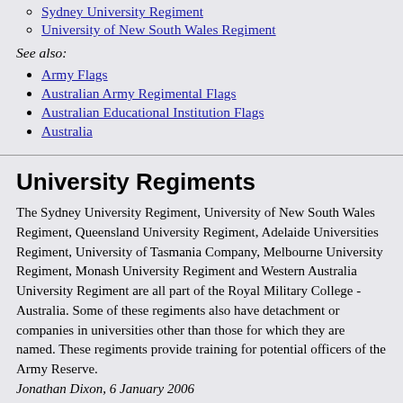Sydney University Regiment
University of New South Wales Regiment
See also:
Army Flags
Australian Army Regimental Flags
Australian Educational Institution Flags
Australia
University Regiments
The Sydney University Regiment, University of New South Wales Regiment, Queensland University Regiment, Adelaide Universities Regiment, University of Tasmania Company, Melbourne University Regiment, Monash University Regiment and Western Australia University Regiment are all part of the Royal Military College - Australia. Some of these regiments also have detachment or companies in universities other than those for which they are named. These regiments provide training for potential officers of the Army Reserve.
Jonathan Dixon, 6 January 2006
Not all university regiments are associated by name with their